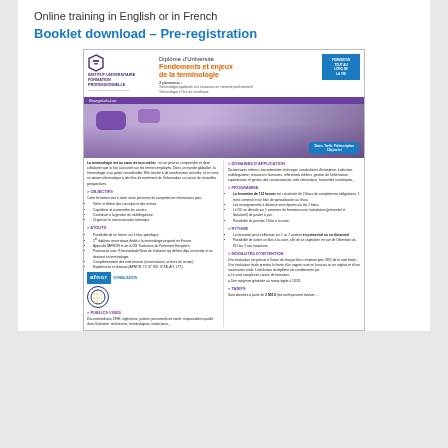Online training in English or in French
Booklet download – Pre-registration
[Figure (illustration): Brochure for Diplôme d'Université – Fondements et enjeux de la terminologie, Institut Universitaire Formation Professionnelle, Université Savoie Mont Blanc. Shows two panels (terminologie appliquée à la traduction en contexte professionnel; terminologie à l'ère du numérique), photo of diverse students holding speech bubbles, and sections: Domaines d'application, Objectifs, Atouts, Publics visés, Programme, Rythme, Modalités d'obtention, Tarifs. Logos: AFNOR, EU Parliament.]